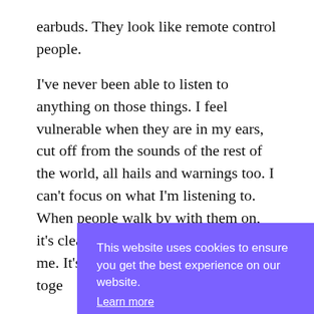earbuds. They look like remote control people.
I've never been able to listen to anything on those things. I feel vulnerable when they are in my ears, cut off from the sounds of the rest of the world, all hails and warnings too. I can't focus on what I'm listening to. When people walk by with them on, it's clear they want no contact from me. It's creepy. Like we're all alone… toge
In 1
“Th
“So
hears when he gives himself over to the electronic tides
[Figure (screenshot): Cookie consent banner overlay with purple background. Text reads: 'This website uses cookies to ensure you get the best experience on our website.' with a 'Learn more' link and a 'Got it' button.]